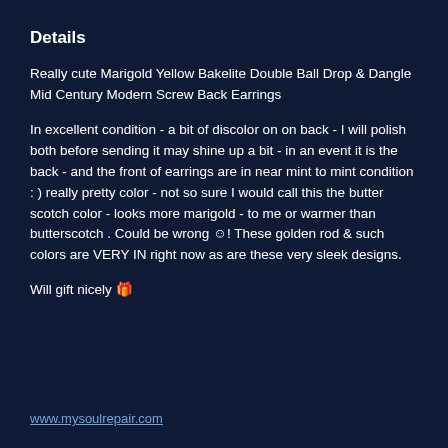Details
Really cute Marigold Yellow Bakelite Double Ball Drop & Dangle Mid Century Modern Screw Back Earrings
In excellent condition - a bit of discolor on on back - I will polish both before sending it may shine up a bit - in an event it is the back - and the front of earrings are in near mint to mint condition : ) really pretty color - not so sure I would call this the butter scotch color - looks more marigold - to me or warmer than butterscotch . Could be wrong ☺! These golden rod & such colors are VERY IN right now as are these very sleek designs.
Will gift nicely 🎁
www.mysoulrepair.com